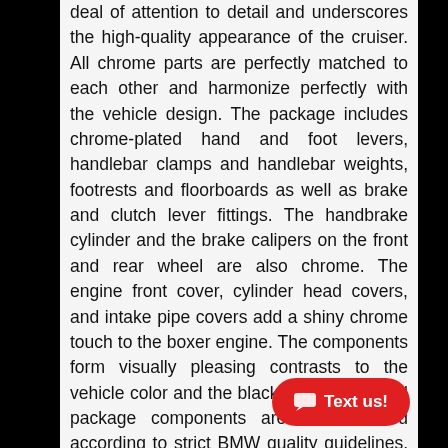deal of attention to detail and underscores the high-quality appearance of the cruiser. All chrome parts are perfectly matched to each other and harmonize perfectly with the vehicle design. The package includes chrome-plated hand and foot levers, handlebar clamps and handlebar weights, footrests and floorboards as well as brake and clutch lever fittings. The handbrake cylinder and the brake calipers on the front and rear wheel are also chrome. The engine front cover, cylinder head covers, and intake pipe covers add a shiny chrome touch to the boxer engine. The components form visually pleasing contrasts to the vehicle color and the black components. All package components are manufactured according to strict BMW quality guidelines. They therefore meet the highest standards and fit.